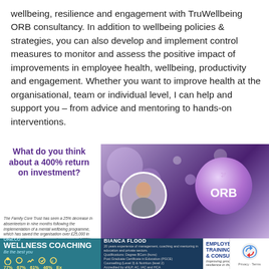wellbeing, resilience and engagement with TruWellbeing ORB consultancy. In addition to wellbeing policies & strategies, you can also develop and implement control measures to monitor and assess the positive impact of improvements in employee health, wellbeing, productivity and engagement. Whether you want to improve health at the organisational, team or individual level, I can help and support you – from advice and mentoring to hands-on interventions.
[Figure (infographic): Infographic ad for TruWellbeing ORB consultancy. Left panel: 'What do you think about a 400% return on investment?' in bold purple text, with small italic case-study text about Family Core Trust seeing a 25% decrease in absenteeism. Right panel: bokeh/bubble purple background with large purple ORB sphere logo and smaller circular profile photo of Bianca Flood. Bottom strip has three sections: teal 'Wellness Coaching' with stats (77%, 67%, 61%, 46%, Ex), dark 'Bianca Flood' bio panel, and white 'Employee Wellbeing Training, Development & Consultancy' panel with reCAPTCHA badge.]